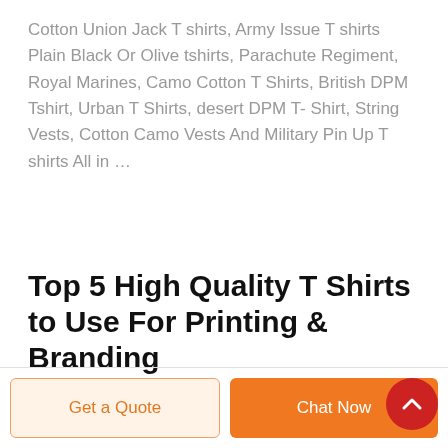Cotton Union Jack T shirts, Army Issue T shirts Plain Black Or Olive tshirts, Parachute Regiment, Royal Marines, Camo Cotton T Shirts, British DPM Tshirt, Urban T Shirts, desert DPM T- Shirt, String Vests, Cotton Camo Vests And Military Pin Up T shirts All in …
Top 5 High Quality T Shirts to Use For Printing & Branding
Get a Quote
Chat Now